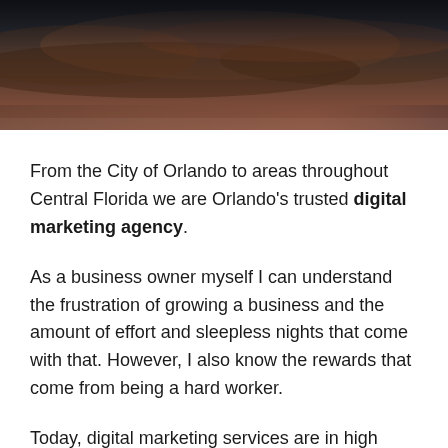[Figure (photo): Dark atmospheric sky photo with deep blue and brown tones, used as a hero banner image at the top of the page.]
From the City of Orlando to areas throughout Central Florida we are Orlando's trusted digital marketing agency.
As a business owner myself I can understand the frustration of growing a business and the amount of effort and sleepless nights that come with that. However, I also know the rewards that come from being a hard worker.
Today, digital marketing services are in high demand in order to help grow your company to